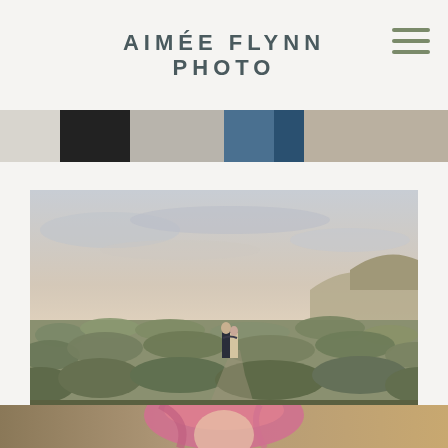AIMÉE FLYNN PHOTO
[Figure (photo): Partial view of two photos at the top of the page — left shows dark suit/formal wear, right shows a person in a blue outfit with hands visible]
[Figure (photo): Landscape engagement/couple photo: two people standing and embracing on a high desert sage brush hillside under a cloudy pastel sunset sky, wide open landscape with rolling hills in background]
[Figure (photo): Partial view of a person with pink hair at the bottom of the page, outdoors]